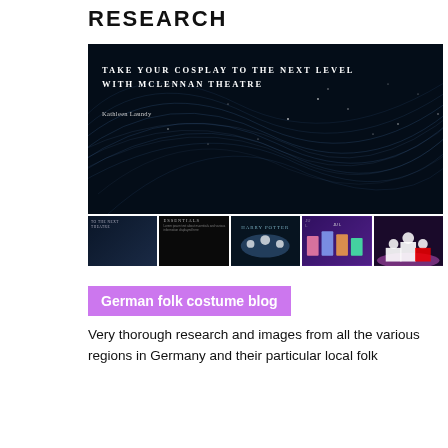RESEARCH
[Figure (photo): Dark cosmic/galaxy swirl background image with text overlay reading 'TAKE YOUR COSPLAY TO THE NEXT LEVEL WITH MCLENNAN THEATRE' and author 'Kathleen Laundy', plus a row of 5 thumbnail images below it.]
German folk costume blog
Very thorough research and images from all the various regions in Germany and their particular local folk